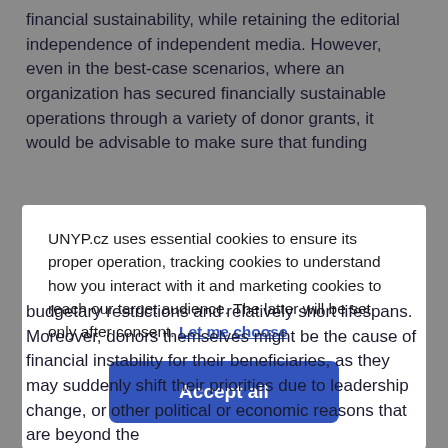financial sustainability, while retaining the editorial independence of independent media. However, even in the best-case scenarios, where an organization has secured financially sustainable operations through a variety of donor grants, it would be advisable to make sure that funding
UNYP.cz uses essential cookies to ensure its proper operation, tracking cookies to understand how you interact with it and marketing cookies to reach our target audience. The latter will be set only after consent. Let me choose
Accept all
budgetary restrictions and relatively short lifespans. Moreover, donors themselves might be the cause of financial instability for their beneficiaries, as they may suddenly shift their priorities due to leadership change, or other political or economic reasons that are beyond the